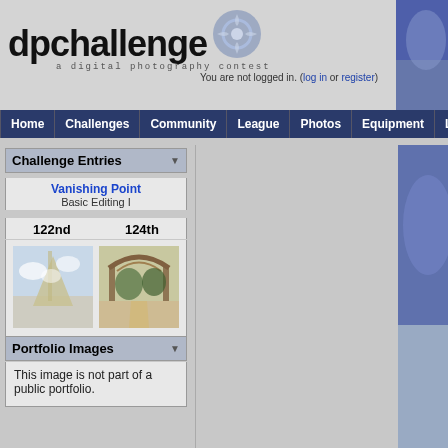dpchallenge — a digital photography contest
You are not logged in. (log in or register)
Home | Challenges | Community | League | Photos | Equipment | Learn | D
Challenge Entries
Vanishing Point
Basic Editing I
122nd   124th
[Figure (photo): Two thumbnail photos: left shows sky with teepee shapes, right shows an archway/gate structure with trees]
Portfolio Images
This image is not part of a public portfolio.
[Figure (photo): Right edge partial photo strip with blue/dark tones]